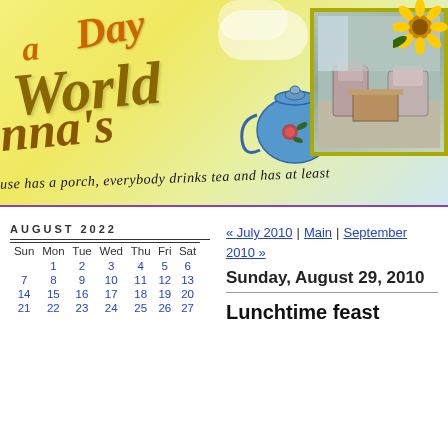[Figure (illustration): Blog header banner with decorative cursive text reading 'a Day' and 'nna's World', tagline 'use has a porch, everybody drinks tea and has at least', a blue teapot illustration, a photo of a room with wicker chairs, sunflower decoration, on a yellow watercolor background]
| Sun | Mon | Tue | Wed | Thu | Fri | Sat |
| --- | --- | --- | --- | --- | --- | --- |
|  | 1 | 2 | 3 | 4 | 5 | 6 |
| 7 | 8 | 9 | 10 | 11 | 12 | 13 |
| 14 | 15 | 16 | 17 | 18 | 19 | 20 |
| 21 | 22 | 23 | 24 | 25 | 26 | 27 |
« July 2010 | Main | September 2010 »
Sunday, August 29, 2010
Lunchtime feast